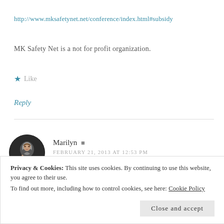http://www.mksafetynet.net/conference/index.html#subsidy
MK Safety Net is a not for profit organization.
★ Like
Reply
Marilyn
FEBRUARY 21, 2013 AT 12:53 PM
Privacy & Cookies: This site uses cookies. By continuing to use this website, you agree to their use. To find out more, including how to control cookies, see here: Cookie Policy
Close and accept